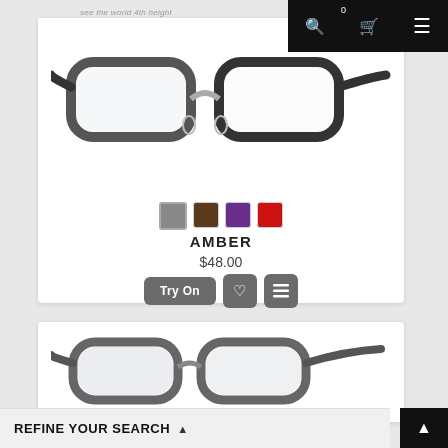see the world 4th height
[Figure (photo): Rectangular eyeglasses frame with dark gray/black rims, transparent nose bridge, shown from front-top angle on white background]
AMBER
$48.00
Try On
[Figure (photo): Gray full-rim rectangular eyeglasses shown from 3/4 side angle on white background]
REFINE YOUR SEARCH ▲